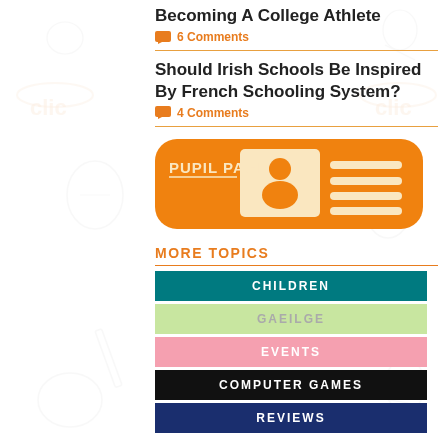Becoming A College Athlete
6 Comments
Should Irish Schools Be Inspired By French Schooling System?
4 Comments
[Figure (illustration): Orange rounded rectangle banner showing 'PUPIL PAGE' text with a ID card graphic featuring a person silhouette and horizontal lines representing text fields]
MORE TOPICS
CHILDREN
GAEILGE
EVENTS
COMPUTER GAMES
REVIEWS